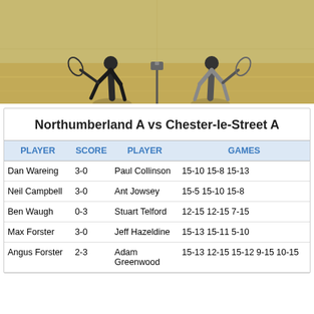[Figure (photo): Two squash players mid-match on an indoor squash court, viewed through glass. One player in dark clothes, one in light clothes.]
Northumberland A vs Chester-le-Street A
| PLAYER | SCORE | PLAYER | GAMES |
| --- | --- | --- | --- |
| Dan Wareing | 3-0 | Paul Collinson | 15-10 15-8 15-13 |
| Neil Campbell | 3-0 | Ant Jowsey | 15-5 15-10 15-8 |
| Ben Waugh | 0-3 | Stuart Telford | 12-15 12-15 7-15 |
| Max Forster | 3-0 | Jeff Hazeldine | 15-13 15-11 5-10 |
| Angus Forster | 2-3 | Adam Greenwood | 15-13 12-15 15-12 9-15 10-15 |